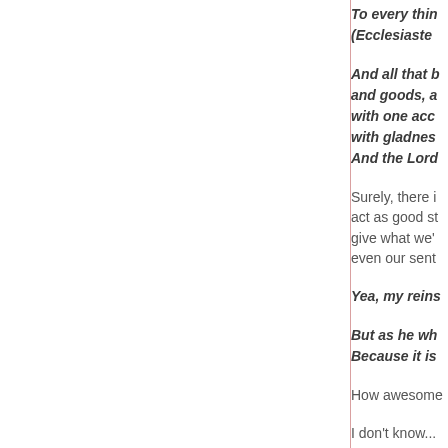To every thin... (Ecclesiaste...
And all that b... and goods, a... with one acc... with gladnes... And the Lord...
Surely, there i... act as good st... give what we'... even our sent...
Yea, my reins...
But as he wh... Because it is...
How awesome...
I don't know...